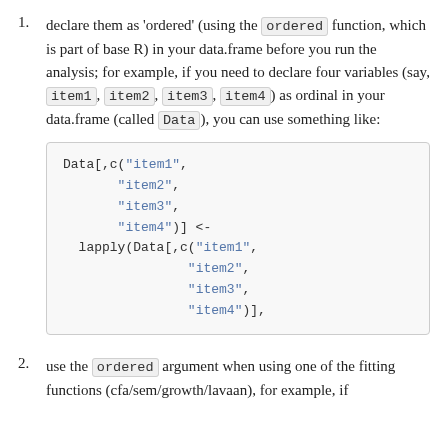declare them as 'ordered' (using the ordered function, which is part of base R) in your data.frame before you run the analysis; for example, if you need to declare four variables (say, item1, item2, item3, item4) as ordinal in your data.frame (called Data), you can use something like:
use the ordered argument when using one of the fitting functions (cfa/sem/growth/lavaan), for example, if